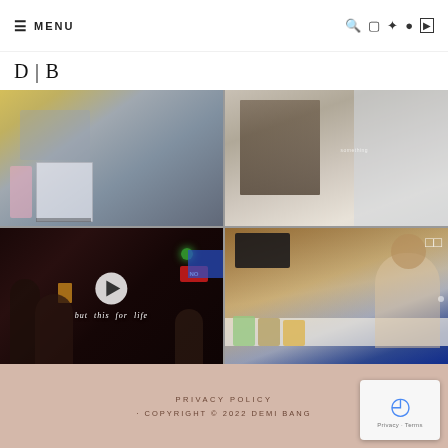≡ MENU
[Figure (logo): D|B logo in serif font]
[Figure (photo): Four-photo Instagram grid: top-left shows luggage and handbag travel scene; top-right shows close-up of hair and necklace; bottom-left is a video still of people dancing in a dark venue with play button and text 'but this for life'; bottom-right shows a woman in white top sitting in a kitchen with food products on counter]
PRIVACY POLICY · COPYRIGHT © 2022 DEMI BANG